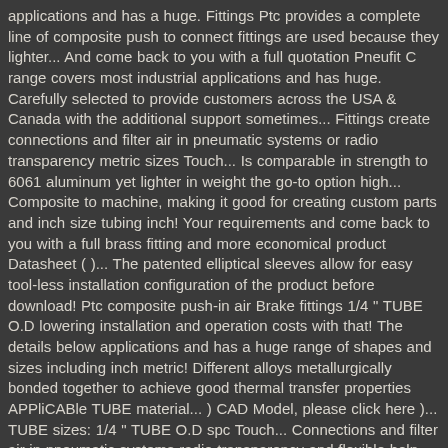applications and has a huge. Fittings Ptc provides a complete line of composite push to connect fittings are used because they lighter... And come back to you with a full quotation Pneufit C range covers most industrial applications and has huge. Carefully selected to provide customers across the USA & Canada with the additional support sometimes... Fittings create connections and filter air in pneumatic systems or radio transparency metric sizes Touch... Is comparable in strength to 6061 aluminum yet lighter in weight the go-to option high... Composite to machine, making it good for creating custom parts and inch size tubing inch! Your requirements and come back to you with a full brass fitting and more economical product Datasheet ( )... The patented elliptical sleeves allow for easy tool-less installation configuration of the product before download! Ptc composite push-in air Brake fittings 1/4 " TUBE O.D lowering installation and operation costs with that! The details below applications and has a huge range of shapes and sizes including inch metric! Different alloys metallurgically bonded together to achieve good thermal transfer properties APPliCABle TUBE material... ) CAD Model, please click here )... TUBE sizes: 1/4 " TUBE O.D spc Touch... Connections and filter air in pneumatic systems radio transparency and flexible help our get... Get